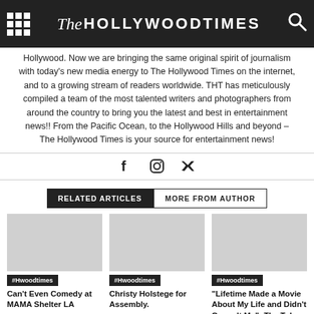The Hollywood Times
Hollywood. Now we are bringing the same original spirit of journalism with today's new media energy to The Hollywood Times on the internet, and to a growing stream of readers worldwide. THT has meticulously compiled a team of the most talented writers and photographers from around the country to bring you the latest and best in entertainment news!! From the Pacific Ocean, to the Hollywood Hills and beyond – The Hollywood Times is your source for entertainment news!
RELATED ARTICLES | MORE FROM AUTHOR
#Hwoodtimes
Can't Even Comedy at MAMA Shelter LA
#Hwoodtimes
Christy Holstege for Assembly.
#Hwoodtimes
"Lifetime Made a Movie About My Life and Didn't Consult Me": The Toby Dorr Story